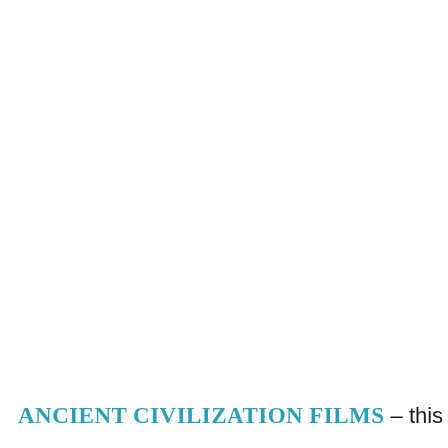Ancient Civilization Films – this has